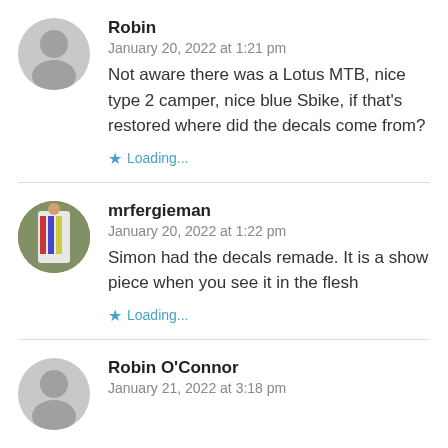Robin
January 20, 2022 at 1:21 pm
Not aware there was a Lotus MTB, nice type 2 camper, nice blue Sbike, if that's restored where did the decals come from?
Loading...
mrfergieman
January 20, 2022 at 1:22 pm
Simon had the decals remade. It is a show piece when you see it in the flesh
Loading...
Robin O'Connor
January 21, 2022 at 3:18 pm